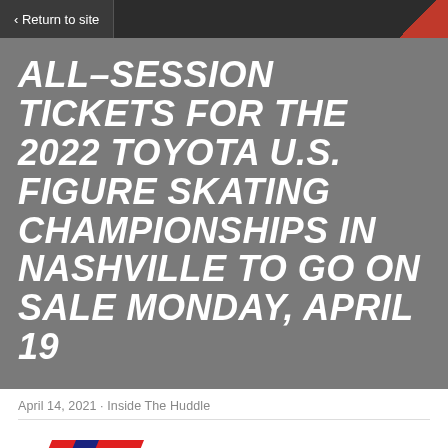< Return to site
ALL-SESSION TICKETS FOR THE 2022 TOYOTA U.S. FIGURE SKATING CHAMPIONSHIPS IN NASHVILLE TO GO ON SALE MONDAY, APRIL 19
April 14, 2021 · Inside The Huddle
[Figure (logo): US Figure Skating logo in red and blue with stylized skate figure]